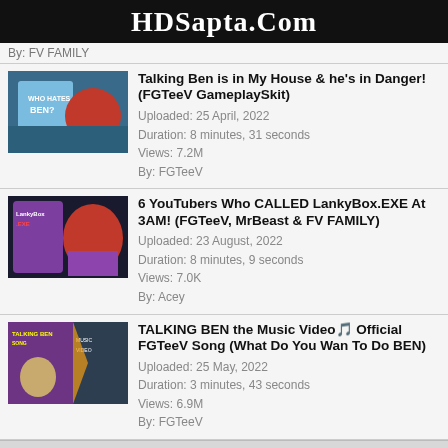HDSapta.Com
By: FV FAMILY
Talking Ben is in My House & he's in Danger! (FGTeeV GameplaySkit)
Uploaded: 25 April, 2022
Duration: 8 minutes, 31 seconds
Views: 7.2M
By: FGTeeV
6 YouTubers Who CALLED LankyBox.EXE At 3AM! (FGTeeV, MrBeast & FV FAMILY)
Uploaded: 23 August, 2022
Duration: 8 minutes, 9 seconds
Views: 7.0K
By: Acey
TALKING BEN the Music Video🎵 Official FGTeeV Song (What Do You Wan To Do BEN)
Uploaded: 25 May, 2022
Duration: 3 minutes, 43 seconds
Views: 6.9M
By: FGTeeV
Download Fgteev Youtube videos. Watch Fgteev Youtube videos. Free download & watch Fgteev Youtube videos online.
Last Search